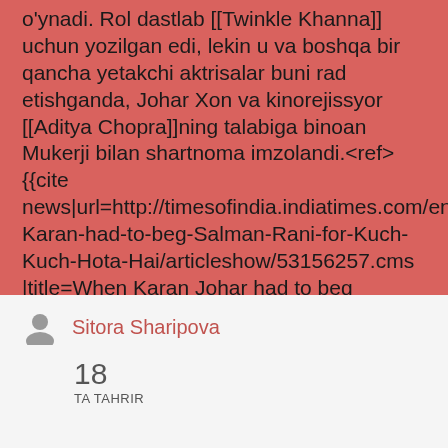o'ynadi. Rol dastlab [[Twinkle Khanna]] uchun yozilgan edi, lekin u va boshqa bir qancha yetakchi aktrisalar buni rad etishganda, Johar Xon va kinorejissyor [[Aditya Chopra]]ning talabiga binoan Mukerji bilan shartnoma imzolandi.<ref>{{cite news|url=http://timesofindia.indiatimes.com/entertainment/hindi/bollywood/news/When-Karan-had-to-beg-Salman-Rani-for-Kuch-Kuch-Hota-Hai/articleshow/53156257.cms|title=When Karan Johar had to beg Salman Khan, Rani Mukerji for 'Kuch Kuch Hota Hai' |work=The Times of India |date=11 July 2016 |access-date=3 November 2016 |url-
Sitora Sharipova
18 TA TAHRIR